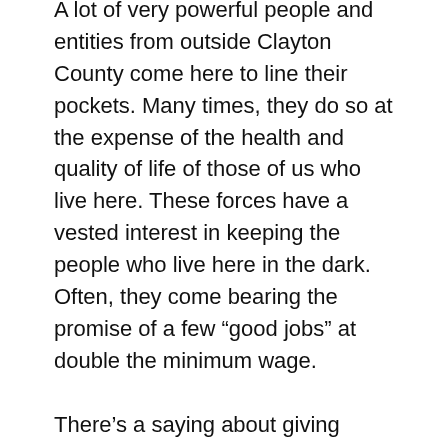A lot of very powerful people and entities from outside Clayton County come here to line their pockets. Many times, they do so at the expense of the health and quality of life of those of us who live here. These forces have a vested interest in keeping the people who live here in the dark. Often, they come bearing the promise of a few “good jobs” at double the minimum wage.
There’s a saying about giving people “the mushroom treatment”–keep them in the dark and feed them bovine excrement.
We’re not in the mushroom-farming business.
We’re in the news business.